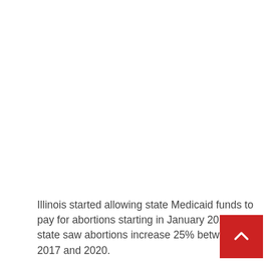Illinois started allowing state Medicaid funds to pay for abortions starting in January 2018. The state saw abortions increase 25% between 2017 and 2020.